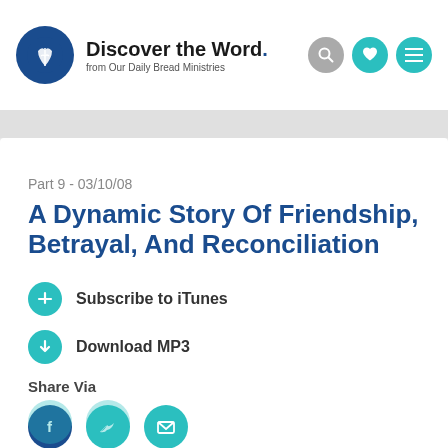Discover the Word. from Our Daily Bread Ministries
Part 9 - 03/10/08
A Dynamic Story Of Friendship, Betrayal, And Reconciliation
Subscribe to iTunes
Download MP3
Share Via